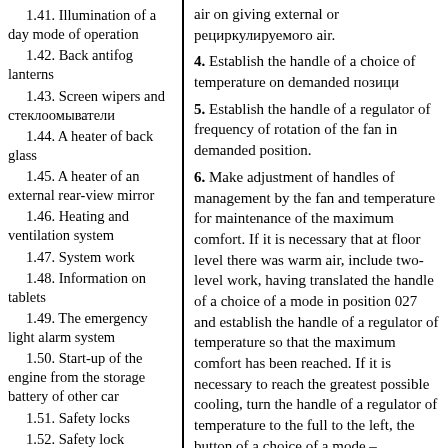1.41. Illumination of a day mode of operation
1.42. Back antifog lanterns
1.43. Screen wipers and стеклоомыватели
1.44. A heater of back glass
1.45. A heater of an external rear-view mirror
1.46. Heating and ventilation system
1.47. System work
1.48. Information on tablets
1.49. The emergency light alarm system
1.50. Start-up of the engine from the storage battery of other car
1.51. Safety locks
1.52. Safety lock Memory
1.53. Car towage
1.54. Screen wiper brushes
1.55. Replacement of lamps
air on giving external or рециркулируемого air.
4. Establish the handle of a choice of temperature on demanded позици
5. Establish the handle of a regulator of frequency of rotation of the fan in demanded position.
6. Make adjustment of handles of management by the fan and temperature for maintenance of the maximum comfort. If it is necessary that at floor level there was warm air, include two-level work, having translated the handle of a choice of a mode in position 027 and establish the handle of a regulator of temperature so that the maximum comfort has been reached. If it is necessary to reach the greatest possible cooling, turn the handle of a regulator of temperature to the full to the left, the button of a choice of a mode –